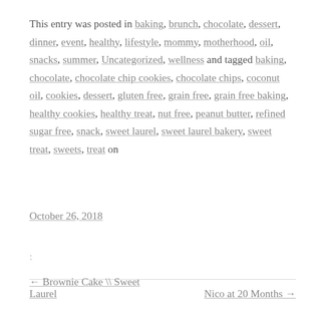This entry was posted in baking, brunch, chocolate, dessert, dinner, event, healthy, lifestyle, mommy, motherhood, oil, snacks, summer, Uncategorized, wellness and tagged baking, chocolate, chocolate chip cookies, chocolate chips, coconut oil, cookies, dessert, gluten free, grain free, grain free baking, healthy cookies, healthy treat, nut free, peanut butter, refined sugar free, snack, sweet laurel, sweet laurel bakery, sweet treat, sweets, treat on
October 26, 2018
:
← Brownie Cake \\ Sweet Laurel
Nico at 20 Months →